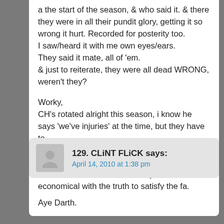a the start of the season, & who said it. & there they were in all their pundit glory, getting it so wrong it hurt. Recorded for posterity too.
I saw/heard it with me own eyes/ears.
They said it mate, all of 'em.
& just to reiterate, they were all dead WRONG, weren't they?

Worky,
CH's rotated alright this season, i know he says 'we've injuries' at the time, but they have to.
Just ask McCarthy!
Funny how manu etc can field weakened teams but wolves can't. So they have to be economical with the truth to satisfy the fa.
129. CLiNT FLiCK says:
April 14, 2010 at 1:38 pm
Aye Darth.